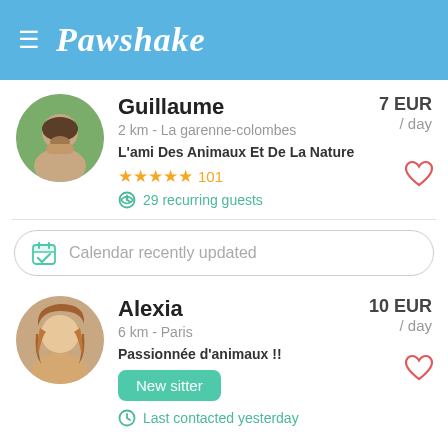Pawshake
Guillaume
2 km - La garenne-colombes
L'ami Des Animaux Et De La Nature
★★★★★ 101
29 recurring guests
7 EUR / day
Calendar recently updated
Alexia
6 km - Paris
Passionnée d'animaux !!
New sitter
Last contacted yesterday
10 EUR / day